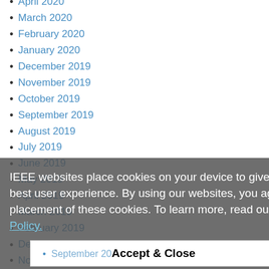April 2020
March 2020
February 2020
January 2020
December 2019
November 2019
October 2019
September 2019
August 2019
July 2019
June 2019
May 2019
April 2019
March 2019
February 2019
December 2018
November 2018
October 2018
September 2018
August 2018
July 2018
June 2018
IEEE websites place cookies on your device to give you the best user experience. By using our websites, you agree to the placement of these cookies. To learn more, read our Privacy Policy.
Accept & Close